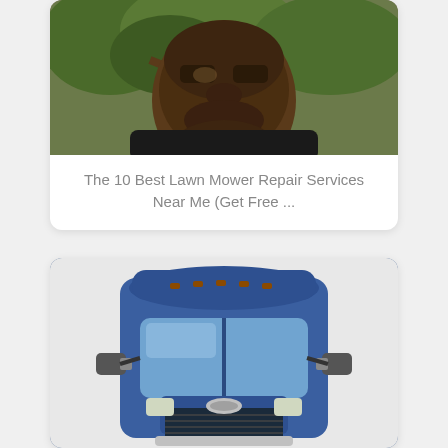[Figure (photo): Close-up photo of a man's face outdoors with trees in background]
The 10 Best Lawn Mower Repair Services Near Me (Get Free ...
[Figure (photo): Front view of a blue Freightliner semi-truck cab on white background]